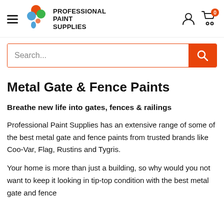[Figure (logo): Professional Paint Supplies logo with colorful paint drop circles and bold uppercase text]
Search...
Metal Gate & Fence Paints
Breathe new life into gates, fences & railings
Professional Paint Supplies has an extensive range of some of the best metal gate and fence paints from trusted brands like Coo-Var, Flag, Rustins and Tygris.
Your home is more than just a building, so why would you not want to keep it looking in tip-top condition with the best metal gate and fence